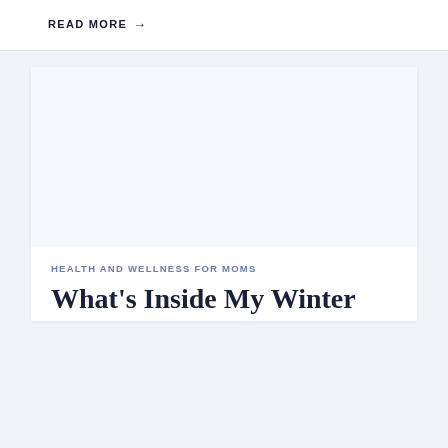READ MORE →
[Figure (photo): Large white/light blue image placeholder area within a card]
HEALTH AND WELLNESS FOR MOMS
What's Inside My Winter